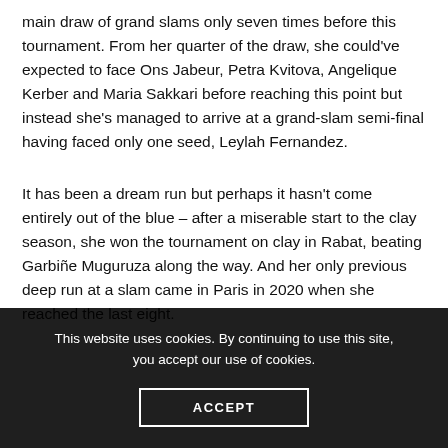main draw of grand slams only seven times before this tournament. From her quarter of the draw, she could've expected to face Ons Jabeur, Petra Kvitova, Angelique Kerber and Maria Sakkari before reaching this point but instead she's managed to arrive at a grand-slam semi-final having faced only one seed, Leylah Fernandez.
It has been a dream run but perhaps it hasn't come entirely out of the blue – after a miserable start to the clay season, she won the tournament on clay in Rabat, beating Garbiñe Muguruza along the way. And her only previous deep run at a slam came in Paris in 2020 when she reached the last eight.
This website uses cookies. By continuing to use this site, you accept our use of cookies.
ACCEPT